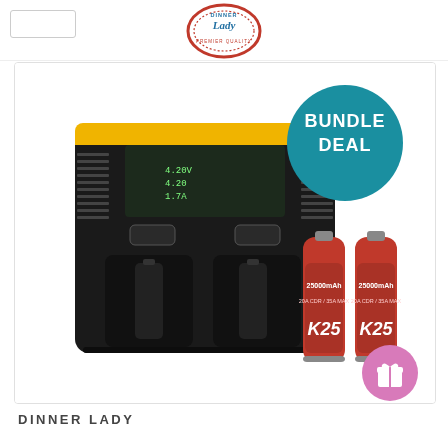[Figure (logo): Dinner Lady Premier Quality circular logo with red border and blue text]
[Figure (photo): Bundle deal product image showing a black dual-bay battery charger (Nitecore style) with LCD display, alongside two red 18650 batteries labeled K25 25000mAh 20A CDR / 35A MAX. A teal/blue circular badge reads BUNDLE DEAL in white bold text. A pink gift icon button appears in the bottom right corner.]
DINNER LADY